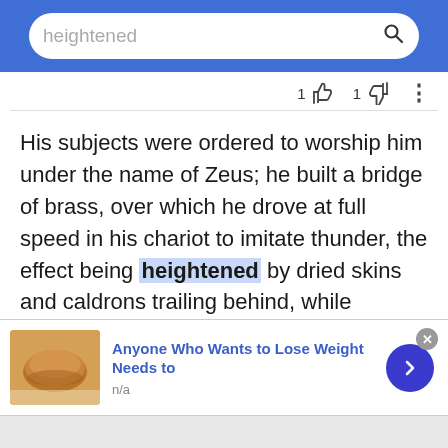heightened
His subjects were ordered to worship him under the name of Zeus; he built a bridge of brass, over which he drove at full speed in his chariot to imitate thunder, the effect being heightened by dried skins and caldrons trailing behind, while torches were thrown into the air to represent lightning.
[Figure (screenshot): Advertisement banner: 'Anyone Who Wants to Lose Weight Needs to' with food image and navigation arrow, n/a label]